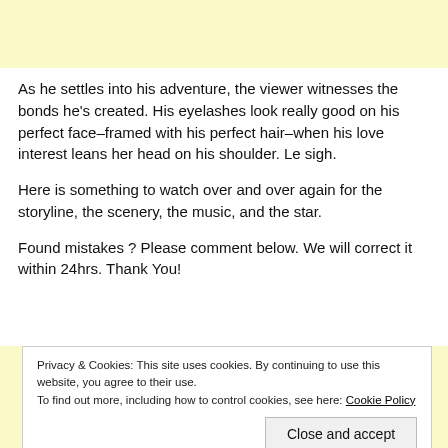[Figure (other): Yellow banner area at top of page]
As he settles into his adventure, the viewer witnesses the bonds he's created. His eyelashes look really good on his perfect face–framed with his perfect hair–when his love interest leans her head on his shoulder. Le sigh.
Here is something to watch over and over again for the storyline, the scenery, the music, and the star.
Found mistakes ? Please comment below. We will correct it within 24hrs. Thank You!
Privacy & Cookies: This site uses cookies. By continuing to use this website, you agree to their use.
To find out more, including how to control cookies, see here: Cookie Policy